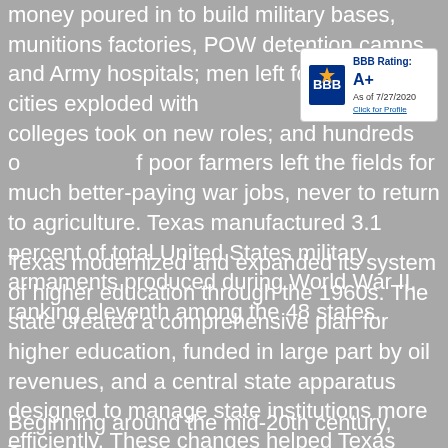money poured in to build military bases, munitions factories, POW detention camps and Army hospitals; men left for service; the cities exploded with the colleges took on new roles; and hundreds of poor farmers left the fields for much better-paying war jobs, never to return to agriculture. Texas manufactured 3.1 percent of total United States military armaments produced during World War II, ranking eleventh among the 48 states.
[Figure (logo): BBB Accredited Business badge with BBB Rating: A+, As of 7/27/2020, Click for Profile]
Texas modernized and expanded its system of higher education through the 1960s. The state created a comprehensive plan for higher education, funded in large part by oil revenues, and a central state apparatus designed to manage state institutions more efficiently. These changes helped Texas universities receive federal research funds.
Beginning around the mid-20th century, Texas began to transform from a rural and agricultural state to an...